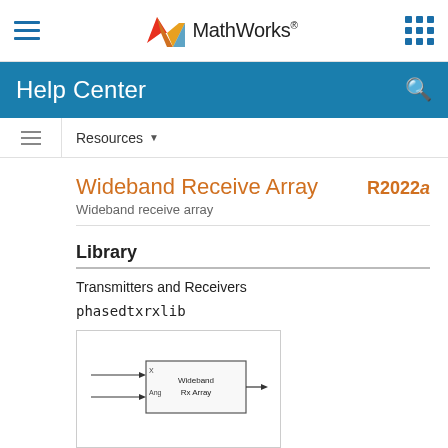MathWorks - Help Center
Resources
Wideband Receive Array
R2022a
Wideband receive array
Library
Transmitters and Receivers
phasedtxrxlib
[Figure (screenshot): Simulink block diagram icon showing a 'Wideband Rx Array' block with two input ports labeled X and Ang and one output port.]